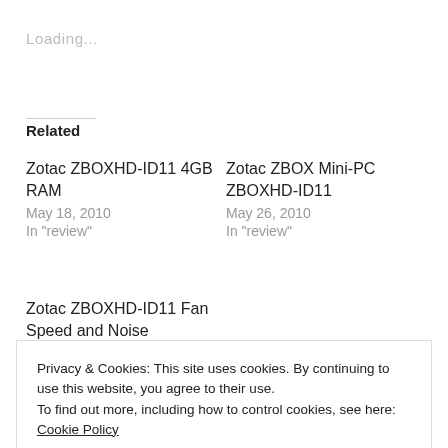Loading...
Related
Zotac ZBOXHD-ID11 4GB RAM
May 18, 2010
In "review"
Zotac ZBOX Mini-PC ZBOXHD-ID11
May 26, 2010
In "review"
Zotac ZBOXHD-ID11 Fan Speed and Noise
May 18, 2010
Privacy & Cookies: This site uses cookies. By continuing to use this website, you agree to their use.
To find out more, including how to control cookies, see here: Cookie Policy
Close and accept